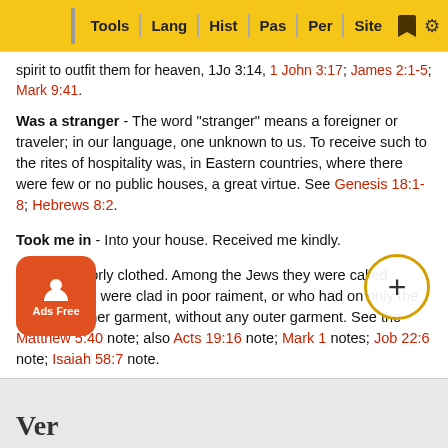Tools | Lang | Hist | Pas | Per | Site
spirit to outfit them for heaven, 1Jo 3:14, 1 John 3:17; James 2:1-5; Mark 9:41.
Was a stranger - The word “stranger” means a foreigner or traveler; in our language, one unknown to us. To receive such to the rites of hospitality was, in Eastern countries, where there were few or no public houses, a great virtue. See Genesis 18:1-8; Hebrews 8:2.
Took me in - Into your house. Received me kindly.
Naked - Poorly clothed. Among the Jews they were called “naked” who were clad in poor raiment, or who had on only the “tunic” or inner garment, without any outer garment. See the Matthew 5:40 note; also Acts 19:16 note; Mark 1 notes; Job 22:6 note; Isaiah 58:7 note.